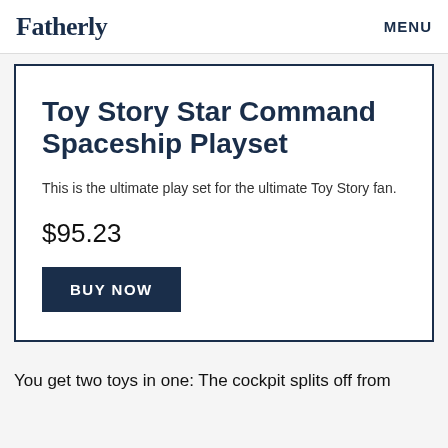Fatherly   MENU
Toy Story Star Command Spaceship Playset
This is the ultimate play set for the ultimate Toy Story fan.
$95.23
BUY NOW
You get two toys in one: The cockpit splits off from